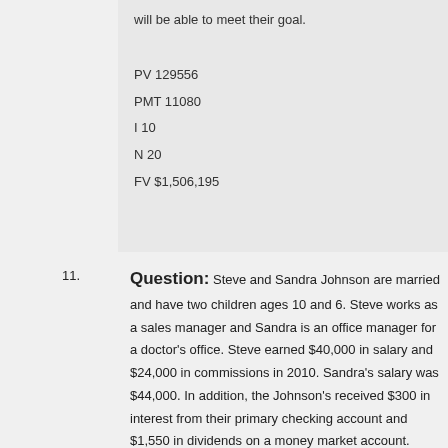retirement plan. The Smiths will be able to meet their goal.
PV 129556
PMT 11080
I 10
N 20
FV $1,506,195
11. Question: Steve and Sandra Johnson are married and have two children ages 10 and 6. Steve works as a sales manager and Sandra is an office manager for a doctor's office. Steve earned $40,000 in salary and $24,000 in commissions in 2010. Sandra's salary was $44,000. In addition, the Johnson's received $300 in interest from their primary checking account and $1,550 in dividends on a money market account. Further, they received a $15,000 inheritance from